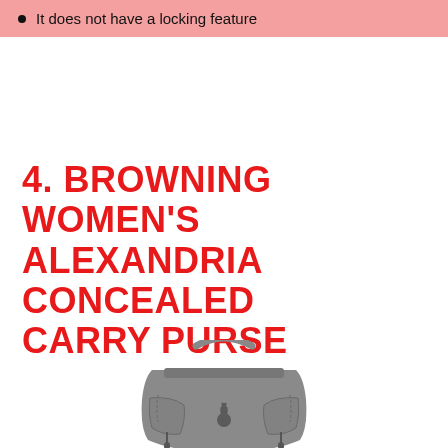It does not have a locking feature
4. BROWNING WOMEN'S ALEXANDRIA CONCEALED CARRY PURSE
[Figure (photo): Photo of a grey Browning Women's Alexandria Concealed Carry Purse with a single handle, zipper closure, and small decorative zippers on the front pockets, with the Browning deer logo on the front.]